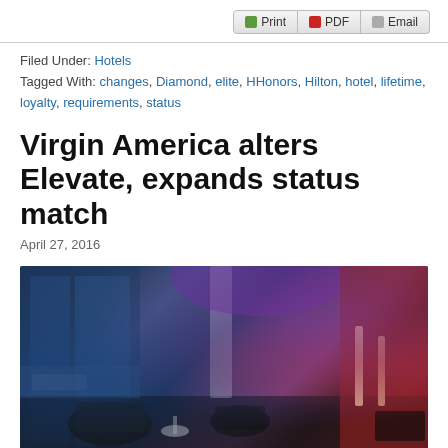Print | PDF | Email
Filed Under: Hotels
Tagged With: changes, Diamond, elite, HHonors, Hilton, hotel, lifetime, loyalty, requirements, status
Virgin America alters Elevate, expands status match
April 27, 2016
[Figure (photo): Interior of a modern airport lounge with floor-to-ceiling windows, blue and purple lighting, dark lounge chairs, and a red accent wall.]
Virgin America's Elevate elites get free or discounted